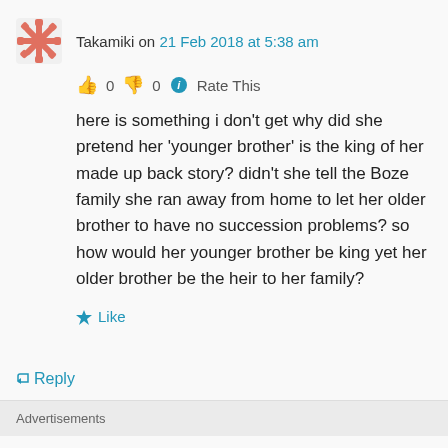Takamiki on 21 Feb 2018 at 5:38 am
👍 0 👎 0 ℹ Rate This
here is something i don't get why did she pretend her 'younger brother' is the king of her made up back story? didn't she tell the Boze family she ran away from home to let her older brother to have no succession problems? so how would her younger brother be king yet her older brother be the heir to her family?
★ Like
↳ Reply
Advertisements